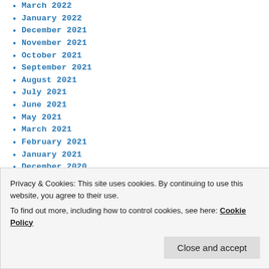March 2022
January 2022
December 2021
November 2021
October 2021
September 2021
August 2021
July 2021
June 2021
May 2021
March 2021
February 2021
January 2021
December 2020
November 2020
October 2020
Privacy & Cookies: This site uses cookies. By continuing to use this website, you agree to their use. To find out more, including how to control cookies, see here: Cookie Policy
November 2019